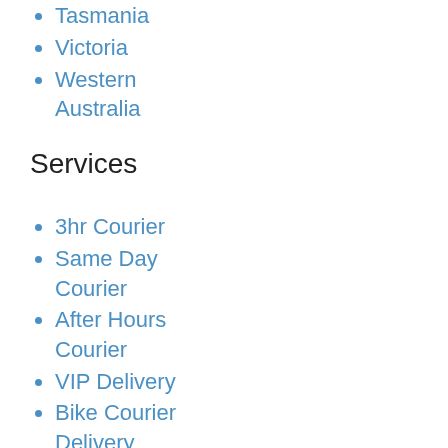South Australia
Tasmania
Victoria
Western Australia
Services
3hr Courier
Same Day Courier
After Hours Courier
VIP Delivery
Bike Courier Delivery
Heavy Item Delivery
E-commerce Delivery
Passport Delivery